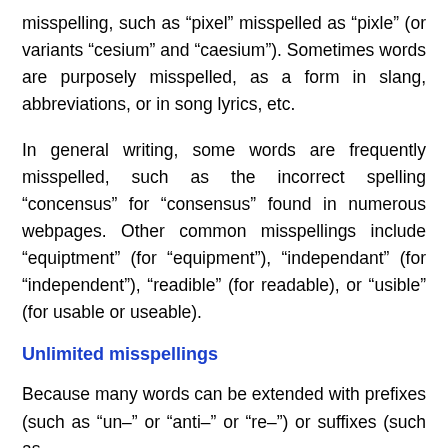misspelling, such as “pixel” misspelled as “pixle” (or variants “cesium” and “caesium”). Sometimes words are purposely misspelled, as a form in slang, abbreviations, or in song lyrics, etc.
In general writing, some words are frequently misspelled, such as the incorrect spelling “concensus” for “consensus” found in numerous webpages. Other common misspellings include “equiptment” (for “equipment”), “independant” (for “independent”), “readible” (for readable), or “usible” (for usable or useable).
Unlimited misspellings
Because many words can be extended with prefixes (such as “un-” or “anti-” or “re-”) or suffixes (such as